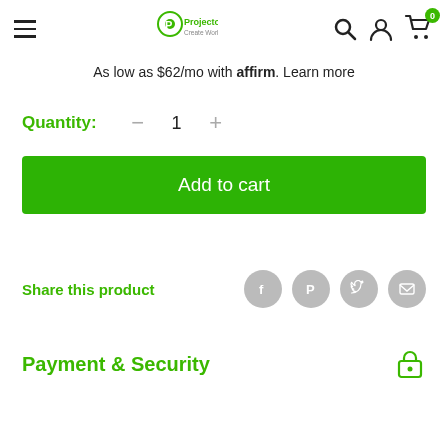Projector Create World - navigation header with menu, logo, search, account, cart (0)
As low as $62/mo with affirm. Learn more
Quantity: — 1 +
Add to cart
Share this product
Payment & Security